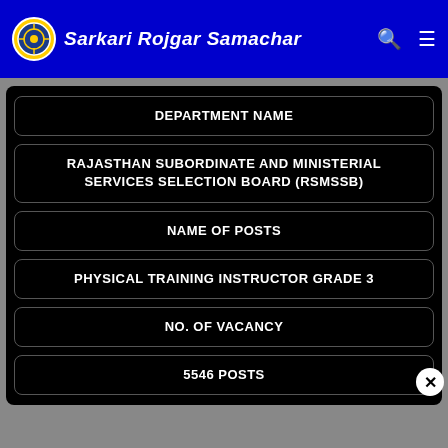Sarkari Rojgar Samachar
DEPARTMENT NAME
RAJASTHAN SUBORDINATE AND MINISTERIAL SERVICES SELECTION BOARD (RSMSSB)
NAME OF POSTS
PHYSICAL TRAINING INSTRUCTOR GRADE 3
NO. OF VACANCY
5546 POSTS